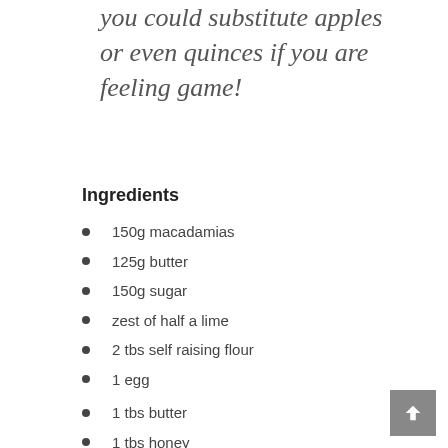you could substitute apples or even quinces if you are feeling game!
Ingredients
150g macadamias
125g butter
150g sugar
zest of half a lime
2 tbs self raising flour
1 egg
1 tbs butter
1 tbs honey